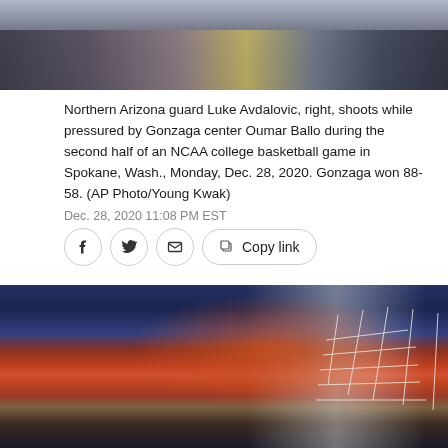[Figure (photo): Top portion of basketball game photo showing players, partially cropped at top of page]
Northern Arizona guard Luke Avdalovic, right, shoots while pressured by Gonzaga center Oumar Ballo during the second half of an NCAA college basketball game in Spokane, Wash., Monday, Dec. 28, 2020. Gonzaga won 88-58. (AP Photo/Young Kwak)
Dec. 28, 2020 11:08 PM EST
[Figure (photo): Close-up photo of a basketball backboard and rim with white net, taken from below during a game]